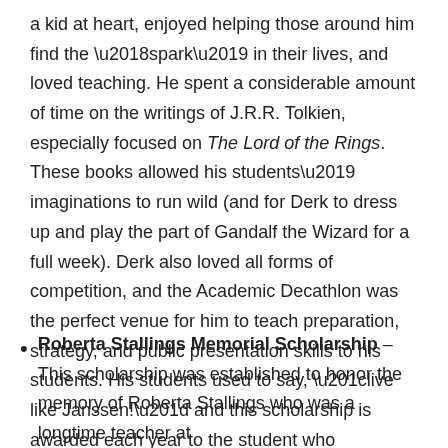a kid at heart, enjoyed helping those around him find the 'spark' in their lives, and loved teaching. He spent a considerable amount of time on the writings of J.R.R. Tolkien, especially focused on The Lord of the Rings. These books allowed his students' imaginations to run wild (and for Derk to dress up and play the part of Gandalf the Wizard for a full week). Derk also loved all forms of competition, and the Academic Decathlon was the perfect venue for him to teach preparation, strategy, and public presentation skills to his students. His students used to say, “live like Janssen!” and this scholarship is awarded each year to the student who embodies the life of Derk Janssen. Awarded to: Sidney Hill
Roberta Stallings Memorial Scholarship – This scholarship was established to honor the memory of Roberta Stallings who was a longtime teacher at